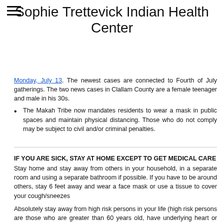Sophie Trettevick Indian Health Center
Monday, July 13. The newest cases are connected to Fourth of July gatherings. The two news cases in Clallam County are a female teenager and male in his 30s.
The Makah Tribe now mandates residents to wear a mask in public spaces and maintain physical distancing. Those who do not comply may be subject to civil and/or criminal penalties.
IF YOU ARE SICK, STAY AT HOME EXCEPT TO GET MEDICAL CARE
Stay home and stay away from others in your household, in a separate room and using a separate bathroom if possible. If you have to be around others, stay 6 feet away and wear a face mask or use a tissue to cover your cough/sneezes
Absolutely stay away from high risk persons in your life (high risk persons are those who are greater than 60 years old, have underlying heart or lung or other medical conditions, or are pregnant).
VERY IMPORTANT: If you are at high risk (greater than 60 years old, have underlying heart or lung conditions, diabetes or other immune